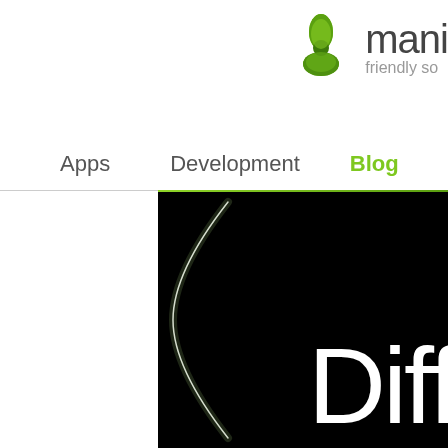[Figure (logo): Mani friendly software logo with green four-petal flower icon and company name 'mani' with tagline 'friendly so...']
Apps   Development   Blog
[Figure (photo): Black hero banner with a glowing curved white line on the left side and large white text 'Diff' (truncated) in thin font on the right]